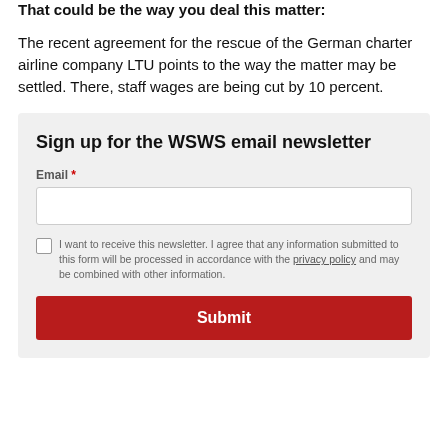The recent agreement for the rescue of the German charter airline company LTU points to the way the matter may be settled. There, staff wages are being cut by 10 percent.
Sign up for the WSWS email newsletter
Email *
I want to receive this newsletter. I agree that any information submitted to this form will be processed in accordance with the privacy policy and may be combined with other information.
Submit